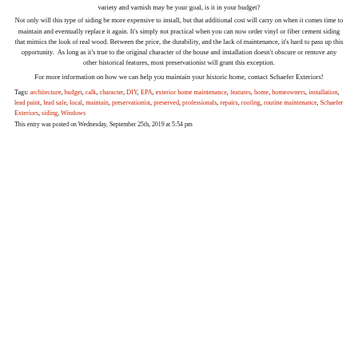variety and varnish may be your goal, is it in your budget?
Not only will this type of siding be more expensive to install, but that additional cost will carry on when it comes time to maintain and eventually replace it again. It’s simply not practical when you can now order vinyl or fiber cement siding that mimics the look of real wood. Between the price, the durability, and the lack of maintenance, it’s hard to pass up this opportunity.  As long as it’s true to the original character of the house and installation doesn’t obscure or remove any other historical features, most preservationist will grant this exception.
For more information on how we can help you maintain your historic home, contact Schaefer Exteriors!
Tags: architecture, budget, calk, character, DIY, EPA, exterior home maintenance, features, home, homeowners, installation, lead paint, lead safe, local, maintain, preservationist, preserved, professionals, repairs, roofing, routine maintenance, Schaefer Exteriors, siding, Windows
This entry was posted on Wednesday, September 25th, 2019 at 5:54 pm